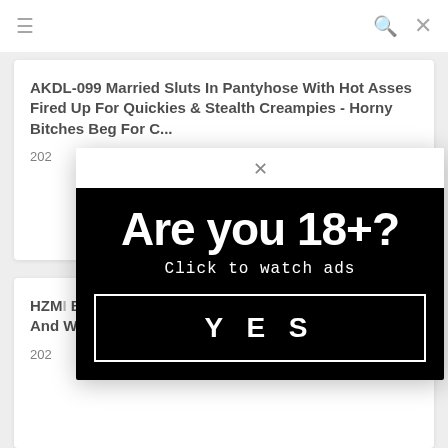≡  🔍  ✕
AKDL-099 Married Sluts In Pantyhose With Hot Asses Fired Up For Quickies & Stealth Creampies - Horny Bitches Beg For C...
202
HZM... Bla... own And W...
202
[Figure (screenshot): Age verification modal popup with black background. Large bold white text reads 'Are you 18+?' with subtext 'Click to watch ads' and a YES button with white border. Modal has a close X button at the top on white background.]